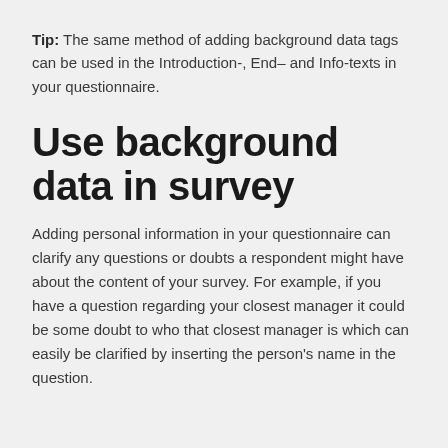Tip: The same method of adding background data tags can be used in the Introduction-, End- and Info-texts in your questionnaire.
Use background data in survey
Adding personal information in your questionnaire can clarify any questions or doubts a respondent might have about the content of your survey. For example, if you have a question regarding your closest manager it could be some doubt to who that closest manager is which can easily be clarified by inserting the person's name in the question.